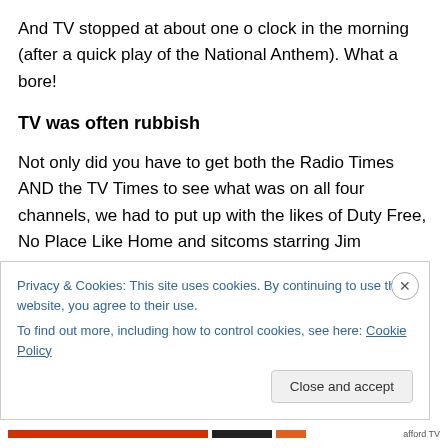And TV stopped at about one o clock in the morning (after a quick play of the National Anthem). What a bore!
TV was often rubbish
Not only did you have to get both the Radio Times AND the TV Times to see what was on all four channels, we had to put up with the likes of Duty Free, No Place Like Home and sitcoms starring Jim Davidson. The most watched comedy show of the
Privacy & Cookies: This site uses cookies. By continuing to use this website, you agree to their use.
To find out more, including how to control cookies, see here: Cookie Policy